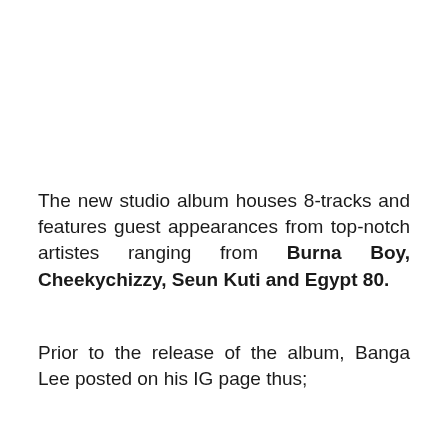The new studio album houses 8-tracks and features guest appearances from top-notch artistes ranging from Burna Boy, Cheekychizzy, Seun Kuti and Egypt 80.
Prior to the release of the album, Banga Lee posted on his IG page thus;